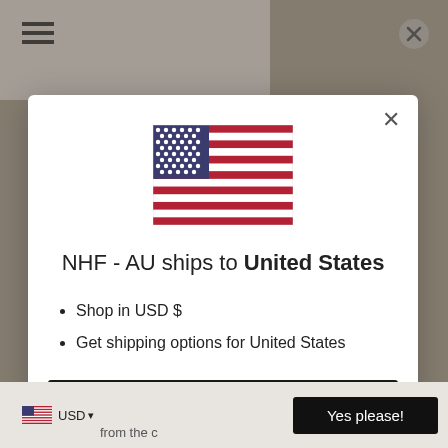[Figure (screenshot): US flag emoji / SVG used as modal hero image]
NHF - AU ships to United States
Shop in USD $
Get shipping options for United States
Shop now
Change shipping country